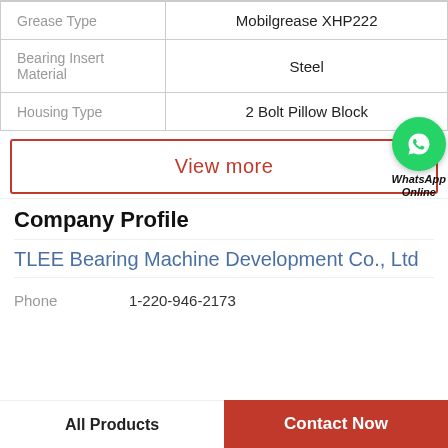| Property | Value |
| --- | --- |
| Grease Type | Mobilgrease XHP222 |
| Bearing Insert Material | Steel |
| Housing Type | 2 Bolt Pillow Block |
View more
[Figure (logo): WhatsApp green circle icon with phone handset, labeled 'WhatsApp Online']
Company Profile
TLEE Bearing Machine Development Co., Ltd
Phone   1-220-946-2173
All Products   Contact Now